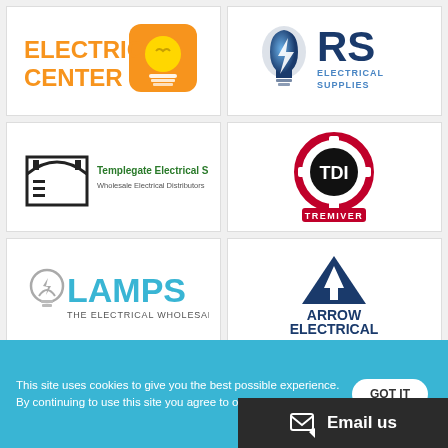[Figure (logo): Electric Center logo - orange text with lightbulb icon]
[Figure (logo): RS Electrical Supplies logo - blue lightbulb with RS text]
[Figure (logo): Templegate Electrical Supplies Limited - Wholesale Electrical Distributors logo]
[Figure (logo): TDI Tremiver logo - red circular badge with TDI in center]
[Figure (logo): Lamps The Electrical Wholesaler logo]
[Figure (logo): Arrow Electrical logo - blue triangle with arrow]
[Figure (logo): Chingford logo - partial view]
[Figure (logo): PE logo - circular badge with rainbow arc]
This site uses cookies to give you the best possible experience. By continuing to use this site you agree to our use of cookie
GOT IT
Email us